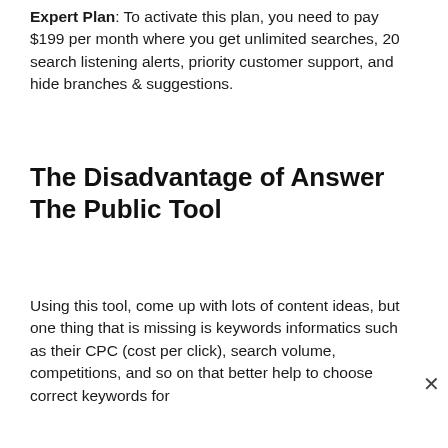Expert Plan: To activate this plan, you need to pay $199 per month where you get unlimited searches, 20 search listening alerts, priority customer support, and hide branches & suggestions.
The Disadvantage of Answer The Public Tool
Using this tool, come up with lots of content ideas, but one thing that is missing is keywords informatics such as their CPC (cost per click), search volume, competitions, and so on that better help to choose correct keywords for